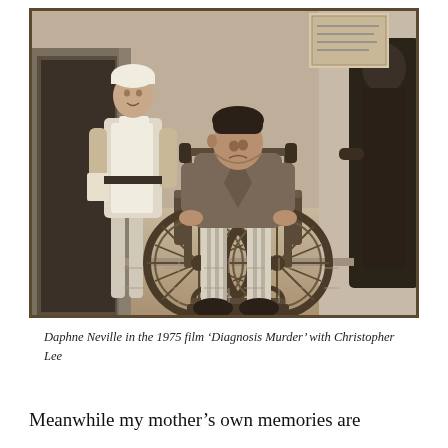[Figure (photo): Black and white sepia-toned photograph of Daphne Neville in the 1975 film 'Diagnosis Murder' with Christopher Lee. A man in a dressing gown sits in a wheelchair in the foreground, head bowed. Behind him stands a woman dressed as a nurse in uniform with apron and cap, holding papers. To the right edge stands another figure in dark clothing.]
Daphne Neville in the 1975 film 'Diagnosis Murder' with Christopher Lee
Meanwhile my mother's own memories are